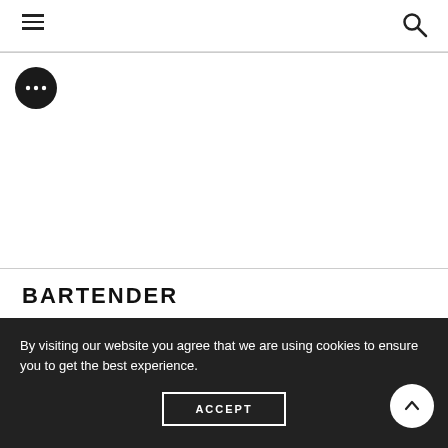Navigation bar with hamburger menu and search icon
[Figure (illustration): Chat bubble icon — dark circular badge with three dots (ellipsis), indicating messaging or chat]
BARTENDER
ABOUT
By visiting our website you agree that we are using cookies to ensure you to get the best experience.
ACCEPT